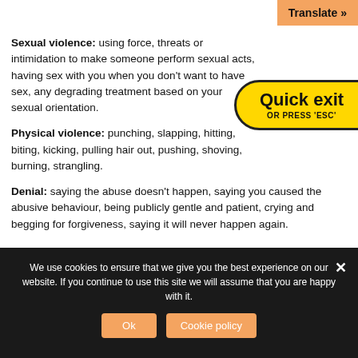Sexual violence: using force, threats or intimidation to make someone perform sexual acts, having sex with you when you don't want to have sex, any degrading treatment based on your sexual orientation.
Physical violence: punching, slapping, hitting, biting, kicking, pulling hair out, pushing, shoving, burning, strangling.
Denial: saying the abuse doesn't happen, saying you caused the abusive behaviour, being publicly gentle and patient, crying and begging for forgiveness, saying it will never happen again.
We use cookies to ensure that we give you the best experience on our website. If you continue to use this site we will assume that you are happy with it.